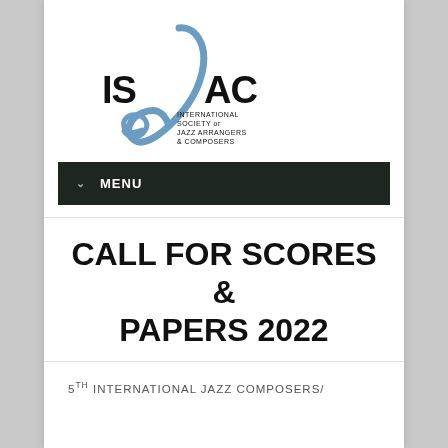[Figure (logo): ISJAC logo - International Society of Jazz Arrangers & Composers, with a stylized blue musical note/swirl and bold text IS/AC]
MENU
CALL FOR SCORES & PAPERS 2022
5TH INTERNATIONAL JAZZ COMPOSERS/